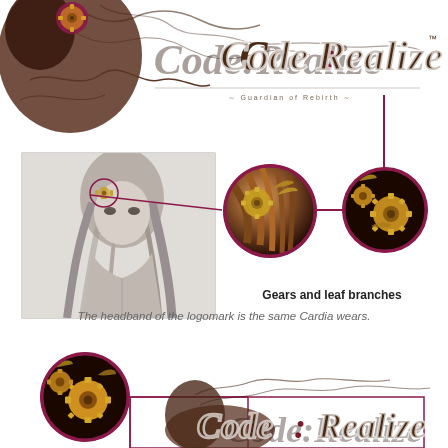[Figure (infographic): Code:Realize game logo at top with stylized silhouette of female character and floral/gear decorations, sepia tones]
[Figure (infographic): Infographic showing the headband detail from Code:Realize logo: character illustration box on left with circle highlight, center circle zoom showing gears and leaf branches on hair, right circle zoom showing golden gear ornaments on dark background, connected by dark pink lines]
Gears and leaf branches
The headband of the logomark is the same Cardia wears.
[Figure (infographic): Bottom section: circle zoom of golden gears on dark background (bottom-left), connected by lines to partial Code:Realize logo in sepia tones (right)]